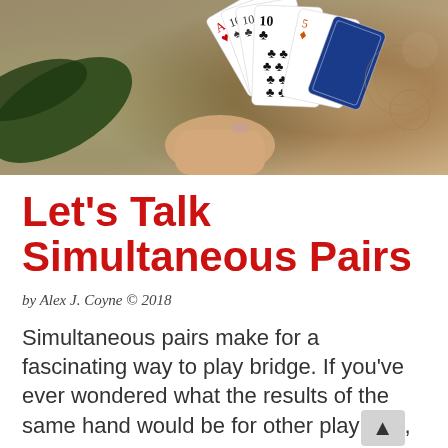[Figure (photo): A hand holding a fan of playing cards (clubs visible prominently) against a decorative background]
Let's Talk Simultaneous Pairs
by Alex J. Coyne © 2018
Simultaneous pairs make for a fascinating way to play bridge. If you've ever wondered what the results of the same hand would be for other players, simultaneous pairs offers you the perfect